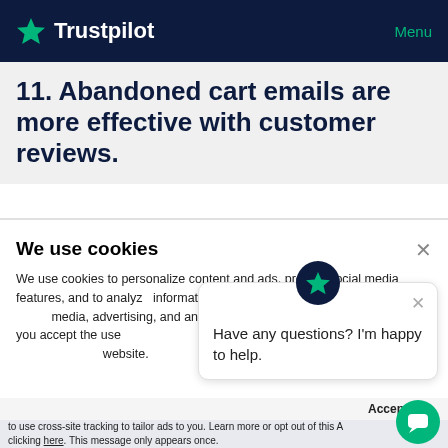Trustpilot   Menu
11. Abandoned cart emails are more effective with customer reviews.
We use cookies
We use cookies to personalize content and ads, provide social media features, and to analyze information about your use of our site with our social media, advertising, and analytics partners. By using this website, you accept the use of cookies. You can access and change your cookie settings on this website.
[Figure (screenshot): Chat widget popup with Trustpilot star avatar and message: Have any questions? I'm happy to help.]
Accept   ×
Your browser settings do not allow cross-site tracking for advertising. Click on this to allow AdRoll to use cross-site tracking to tailor ads to you. Learn more or opt out of this AdRoll tracking by clicking here. This message only appears once.